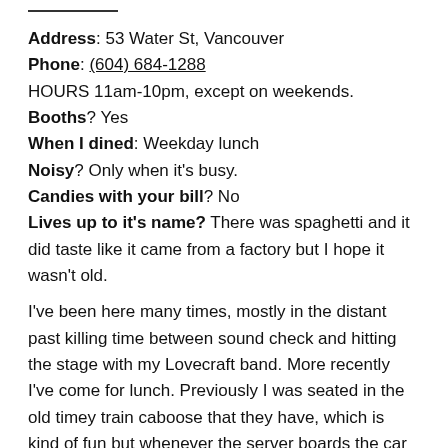Address: 53 Water St, Vancouver
Phone: (604) 684-1288
HOURS 11am-10pm, except on weekends.
Booths? Yes
When I dined: Weekday lunch
Noisy? Only when it's busy.
Candies with your bill? No
Lives up to it's name? There was spaghetti and it did taste like it came from a factory but I hope it wasn't old.
I've been here many times, mostly in the distant past killing time between sound check and hitting the stage with my Lovecraft band. More recently I've come for lunch. Previously I was seated in the old timey train caboose that they have, which is kind of fun but whenever the server boards the car everything jiggles a bit. The host never asks whether or not I want to sit in a